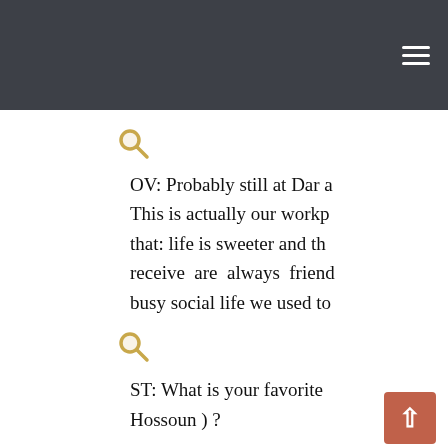[Figure (illustration): Magnifying glass icon (gold/orange tint)]
OV: Probably still at Dar a... This is actually our workp... that: life is sweeter and th... receive are always friend... busy social life we used to...
[Figure (illustration): Magnifying glass icon (gold/orange tint)]
ST: What is your favorite... Hossoun ) ?
OV: I have a real soft sp... tourism... natural...s as... can be discovered and e... Hossoun. Then I really lill...